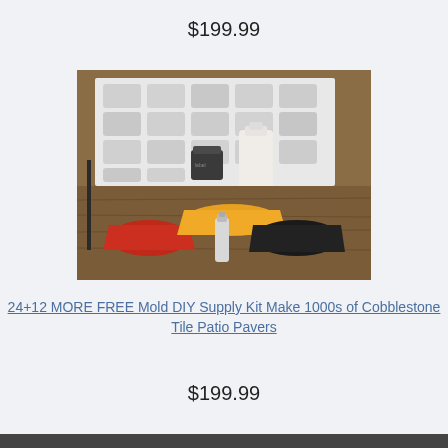$199.99
[Figure (photo): A DIY mold kit showing a large white multi-cavity cobblestone tile mold leaning against a cardboard box, with various supplies arranged in front including a small dark container, a large white bottle, colorful pigment packets (red, orange, black), and a small tube, all on a wooden surface.]
24+12 MORE FREE Mold DIY Supply Kit Make 1000s of Cobblestone Tile Patio Pavers
$199.99